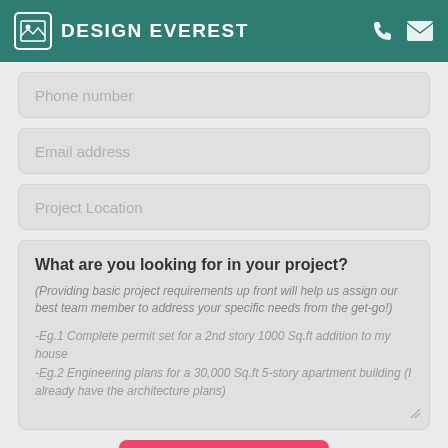DESIGN EVEREST
Phone number
Email address
Project Location
What are you looking for in your project?
(Providing basic project requirements up front will help us assign our best team member to address your specific needs from the get-go!)
-Eg.1 Complete permit set for a 2nd story 1000 Sq.ft addition to my house
-Eg.2 Engineering plans for a 30,000 Sq.ft 5-story apartment building (I already have the architecture plans)
Submit